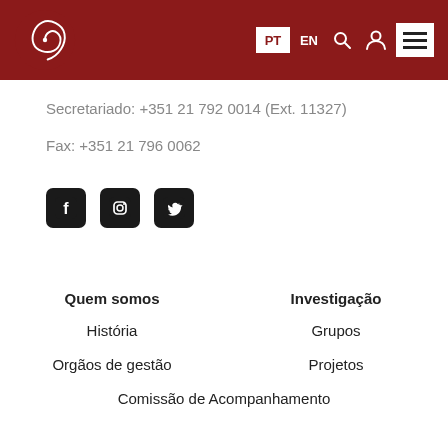[Figure (logo): Spiral shell logo on dark red background with navigation icons PT, EN, search, user, and menu]
Secretariado: +351 21 792 0014 (Ext. 11327)
Fax: +351 21 796 0062
[Figure (infographic): Social media icons: Facebook, Instagram, Twitter]
Quem somos
Investigação
História
Grupos
Orgãos de gestão
Projetos
Comissão de Acompanhamento